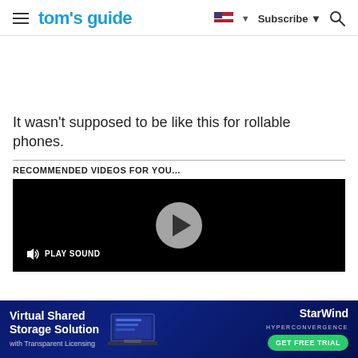tom's guide | Subscribe
It wasn't supposed to be like this for rollable phones.
RECOMMENDED VIDEOS FOR YOU...
[Figure (other): Video player with black background, play button, and PLAY SOUND control button]
[Figure (other): Advertisement banner for Virtual Shared Storage Solution with Transparent Licensing by StarWind Hyperconvergence, featuring a laptop image and GET FREE TRIAL button]